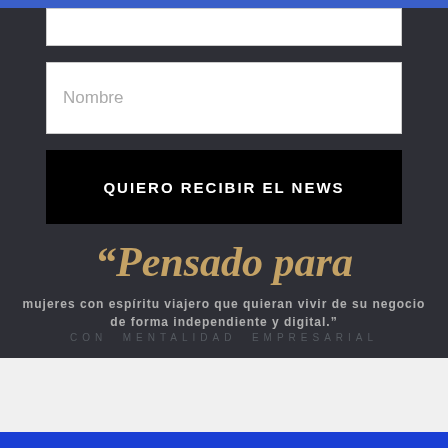[Figure (screenshot): Top input field (partially visible, white rectangle)]
Nombre
QUIERO RECIBIR EL NEWS
“Pensado para
mujeres con espíritu viajero que quieran vivir de su negocio de forma independiente y digital.”
CON MENTALIDAD EMPRESARIAL